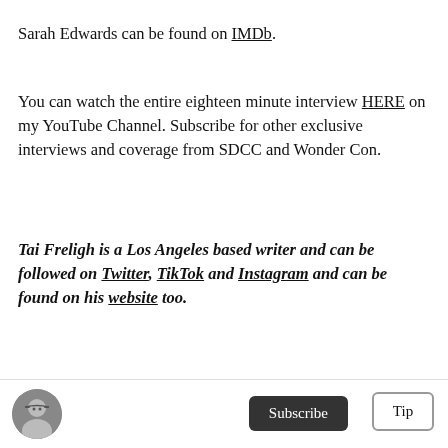Sarah Edwards can be found on IMDb.
You can watch the entire eighteen minute interview HERE on my YouTube Channel. Subscribe for other exclusive interviews and coverage from SDCC and Wonder Con.
Tai Freligh is a Los Angeles based writer and can be followed on Twitter, TikTok and Instagram and can be found on his website too.
PHOTOS: Courtesy Apple TV+
[Figure (photo): Small circular avatar photo of a person wearing glasses]